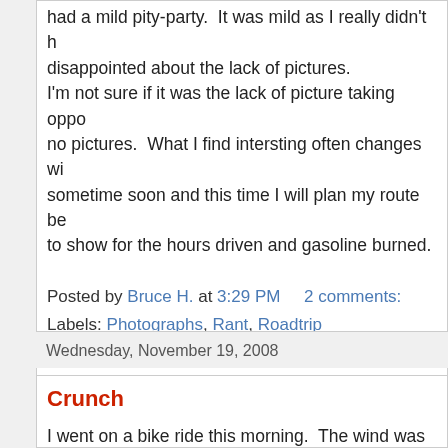had a mild pity-party.  It was mild as I really didn't disappointed about the lack of pictures. I'm not sure if it was the lack of picture taking oppo no pictures.  What I find intersting often changes wi sometime soon and this time I will plan my route be to show for the hours driven and gasoline burned.
Posted by Bruce H. at 3:29 PM    2 comments:
Labels: Photographs, Rant, Roadtrip
Wednesday, November 19, 2008
Crunch
I went on a bike ride this morning.  The wind was a